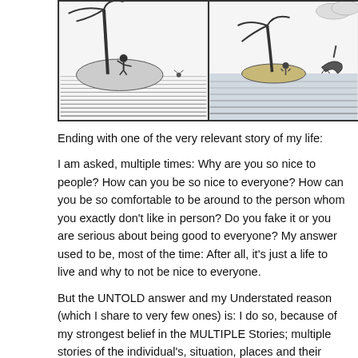[Figure (illustration): Two-panel black and white comic strip illustration. Left panel shows a person standing on a rock/island waving with a small figure visible in the water. Right panel shows a tropical island with palm tree and a shark or large creature in the water nearby.]
Ending with one of the very relevant story of my life:
I am asked, multiple times: Why are you so nice to people? How can you be so nice to everyone? How can you be so comfortable to be around to the person whom you exactly don't like in person? Do you fake it or you are serious about being good to everyone? My answer used to be, most of the time: After all, it's just a life to live and why to not be nice to everyone.
But the UNTOLD answer and my Understated reason (which I share to very few ones) is: I do so, because of my strongest belief in the MULTIPLE Stories; multiple stories of the individual's, situation, places and their actions and